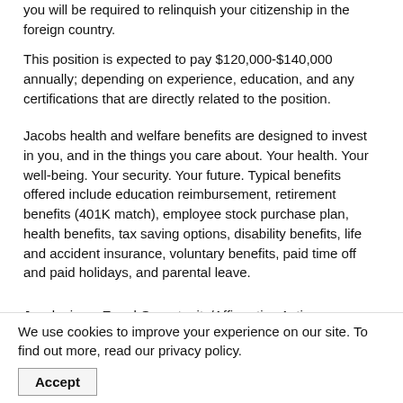you will be required to relinquish your citizenship in the foreign country.
This position is expected to pay $120,000-$140,000 annually; depending on experience, education, and any certifications that are directly related to the position.
Jacobs health and welfare benefits are designed to invest in you, and in the things you care about. Your health. Your well-being. Your security. Your future. Typical benefits offered include education reimbursement, retirement benefits (401K match), employee stock purchase plan, health benefits, tax saving options, disability benefits, life and accident insurance, voluntary benefits, paid time off and paid holidays, and parental leave.
Jacobs is an Equal Opportunity/Affirmative Action Employer. All qualified applicants will receive consideration for employment without regard to race, religion, creed, color, national origin, ancestry, sex (including pregnancy, childbirth, breastfeeding, or medical conditions...
We use cookies to improve your experience on our site. To find out more, read our privacy policy.
Accept